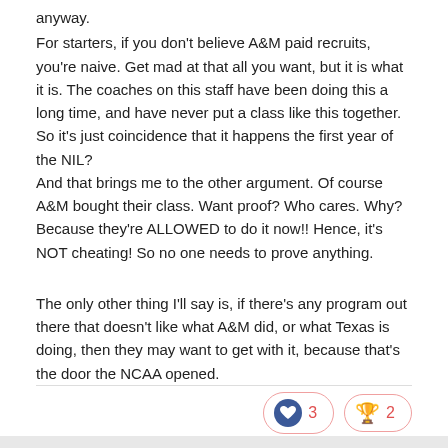anyway.
For starters, if you don't believe A&M paid recruits, you're naive. Get mad at that all you want, but it is what it is. The coaches on this staff have been doing this a long time, and have never put a class like this together. So it's just coincidence that it happens the first year of the NIL?
And that brings me to the other argument. Of course A&M bought their class. Want proof? Who cares. Why? Because they're ALLOWED to do it now!! Hence, it's NOT cheating! So no one needs to prove anything.
The only other thing I'll say is, if there's any program out there that doesn't like what A&M did, or what Texas is doing, then they may want to get with it, because that's the door the NCAA opened.